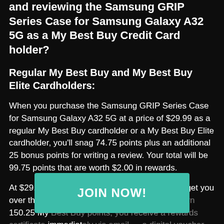and reviewing the Samsung GRIP Series Case for Samsung Galaxy A32 5G as a My Best Buy Credit Card holder?
Regular My Best Buy and My Best Buy Elite Cardholders:
When you purchase the Samsung GRIP Series Case for Samsung Galaxy A32 5G at a price of $29.99 as a regular My Best Buy cardholder or a My Best Buy Elite cardholder, you'll snag 74.75 points plus an additional 25 bonus points for writing a review. Your total will be 99.75 points that are worth $2.00 in rewards.
At $29.99, purchasing this item alone does not get you over the rewards threshold. But if you spe... earn 150.25 My... immediately... voucher
[Figure (other): JOIN NOW! call-to-action button in teal/turquoise color overlaid on the text]